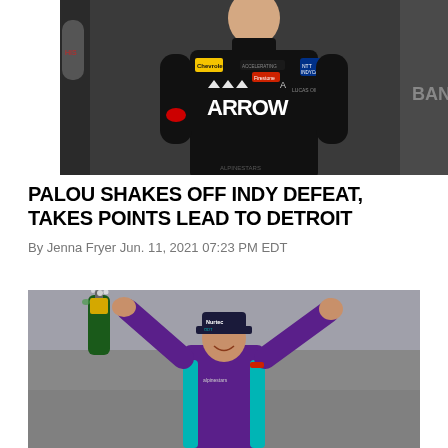[Figure (photo): Racing driver in black Arrow McLaren SP firesuit and black turtleneck, standing in pit lane area with garage equipment visible in background]
PALOU SHAKES OFF INDY DEFEAT, TAKES POINTS LEAD TO DETROIT
By Jenna Fryer Jun. 11, 2021 07:23 PM EDT
[Figure (photo): Racing driver in purple and teal race suit with Nurtec ODT cap, celebrating with arms raised and champagne bottle in hand, smiling]